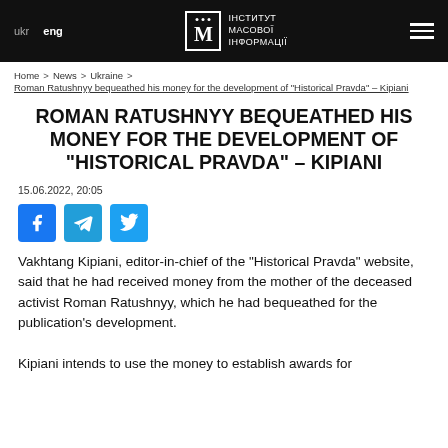ukr | eng | ІНСТИТУТ МАСОВОЇ ІНФОРМАЦІЇ
Home > News > Ukraine > Roman Ratushnyy bequeathed his money for the development of "Historical Pravda" – Kipiani
ROMAN RATUSHNYY BEQUEATHED HIS MONEY FOR THE DEVELOPMENT OF "HISTORICAL PRAVDA" – KIPIANI
15.06.2022, 20:05
[Figure (infographic): Social sharing icons: Facebook, Telegram, Twitter]
Vakhtang Kipiani, editor-in-chief of the "Historical Pravda" website, said that he had received money from the mother of the deceased activist Roman Ratushnyy, which he had bequeathed for the publication's development. Kipiani intends to use the money to establish awards for